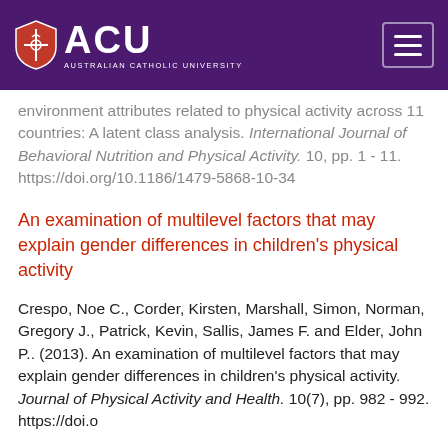[Figure (logo): ACU (Australian Catholic University) logo with shield icon on purple header bar with hamburger menu button]
environment attributes related to physical activity across 11 countries: A latent class analysis. International Journal of Behavioral Nutrition and Physical Activity. 10, pp. 1 - 11. https://doi.org/10.1186/1479-5868-10-34
An examination of multilevel factors that may explain gender differences in children's physical activity
Crespo, Noe C., Corder, Kirsten, Marshall, Simon, Norman, Gregory J., Patrick, Kevin, Sallis, James F. and Elder, John P.. (2013). An examination of multilevel factors that may explain gender differences in children's physical activity. Journal of Physical Activity and Health. 10(7), pp. 982 - 992. https://doi.o